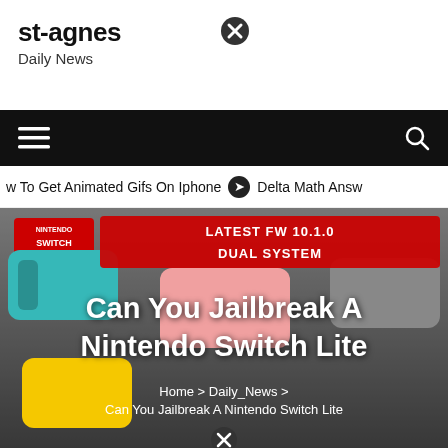st-agnes
Daily News
[Figure (screenshot): Navigation bar with hamburger menu icon on left and search icon on right, black background]
w To Get Animated Gifs On Iphone  ❯  Delta Math Answ
[Figure (photo): Hero image showing Nintendo Switch Lite consoles in teal, yellow, pink and grey colors with text overlay: LATEST FW 10.1.0 DUAL SYSTEM, and article title Can You Jailbreak A Nintendo Switch Lite with breadcrumb Home > Daily_News > Can You Jailbreak A Nintendo Switch Lite]
Can You Jailbreak A Nintendo Switch Lite
Home > Daily_News > Can You Jailbreak A Nintendo Switch Lite